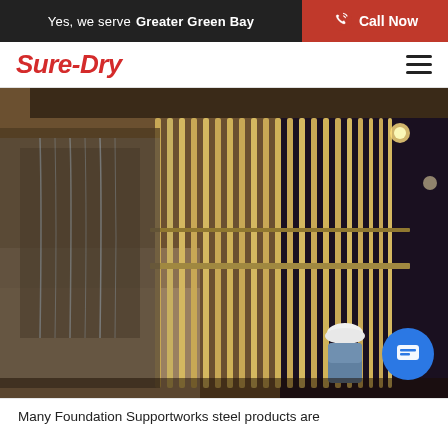Yes, we serve Greater Green Bay — Call Now
Sure-Dry
[Figure (photo): Industrial photo showing steel foundation support piers or pilings in a manufacturing facility with a worker in a hard hat working beside them.]
Many Foundation Supportworks steel products are